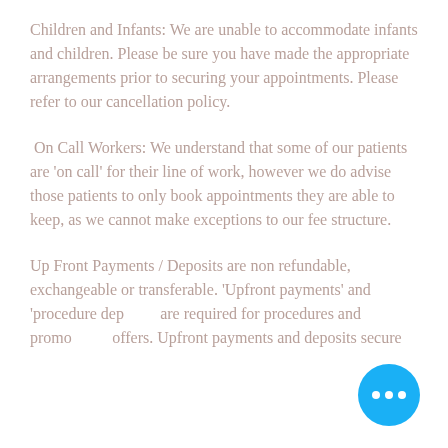Children and Infants: We are unable to accommodate infants and children. Please be sure you have made the appropriate arrangements prior to securing your appointments. Please refer to our cancellation policy.
On Call Workers: We understand that some of our patients are 'on call' for their line of work, however we do advise those patients to only book appointments they are able to keep, as we cannot make exceptions to our fee structure.
Up Front Payments / Deposits are non refundable, exchangeable or transferable. 'Upfront payments' and 'procedure deposits' are required for procedures and promotional offers. Upfront payments and deposits secure